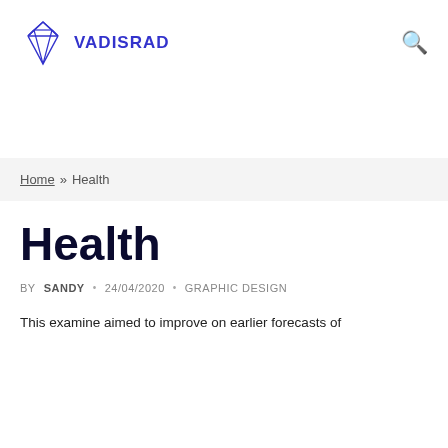VADISRAD
Home » Health
Health
BY SANDY • 24/04/2020 • GRAPHIC DESIGN
This examine aimed to improve on earlier forecasts of